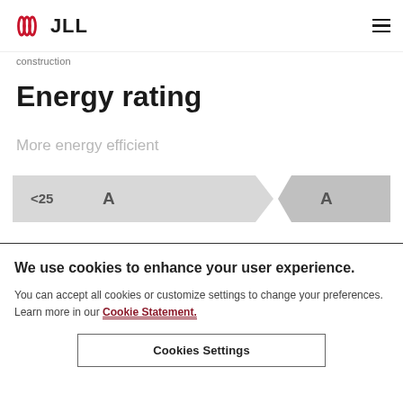JLL
construction
Energy rating
More energy efficient
[Figure (infographic): EPC energy rating band graphic showing '<25 A' on the left arrow-shaped band and 'A' on the right side arrow]
We use cookies to enhance your user experience. You can accept all cookies or customize settings to change your preferences. Learn more in our Cookie Statement.
Cookies Settings